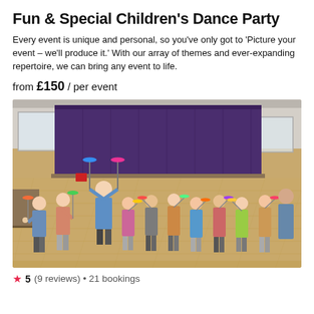Fun & Special Children's Dance Party
Every event is unique and personal, so you've only got to 'Picture your event – we'll produce it.' With our array of themes and ever-expanding repertoire, we can bring any event to life.
from £150 / per event
[Figure (photo): Group photo of children and adults at a dance party in a hall, holding spinning plates on sticks, with a purple curtain stage backdrop behind them]
5 (9 reviews) • 21 bookings